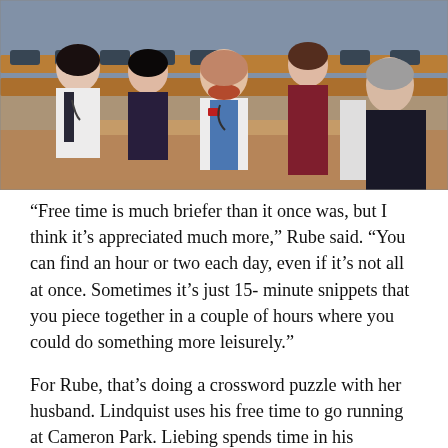[Figure (photo): Group photo of medical professionals in white lab coats gathered around a desk in a lecture hall or classroom setting, with wooden tiered seating visible in the background.]
“Free time is much briefer than it once was, but I think it’s appreciated much more,” Rube said. “You can find an hour or two each day, even if it’s not all at once. Sometimes it’s just 15- minute snippets that you piece together in a couple of hours where you could do something more leisurely.”
For Rube, that’s doing a crossword puzzle with her husband. Lindquist uses his free time to go running at Cameron Park. Liebing spends time in his woodworking shop. And Jehnsen likes to try new restaurants with her